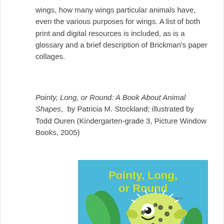wings, how many wings particular animals have, even the various purposes for wings. A list of both print and digital resources is included, as is a glossary and a brief description of Brickman's paper collages.
Pointy, Long, or Round: A Book About Animal Shapes, by Patricia M. Stockland; illustrated by Todd Ouren (Kindergarten-grade 3, Picture Window Books, 2005)
[Figure (illustration): Book cover of 'Pointy, Long, or Round: A Book About Animal Shapes' showing a cartoon puffer fish on a blue background with green plants. Title text in yellow-green reads 'Pointy, Long, or Round' with subtitle 'A Book About Animal Shapes'.]